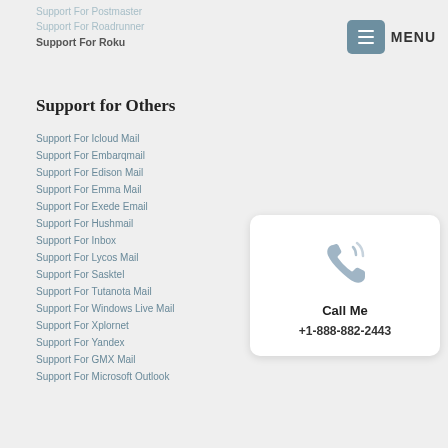Support For Postmaster
Support For Roadrunner
Support For Roku
Support for Others
Support For Icloud Mail
Support For Embarqmail
Support For Edison Mail
Support For Emma Mail
Support For Exede Email
Support For Hushmail
Support For Inbox
Support For Lycos Mail
Support For Sasktel
Support For Tutanota Mail
Support For Windows Live Mail
Support For Xplornet
Support For Yandex
Support For GMX Mail
Support For Microsoft Outlook
[Figure (infographic): Call Me card with phone icon, text 'Call Me' and phone number '+1-888-882-2443']